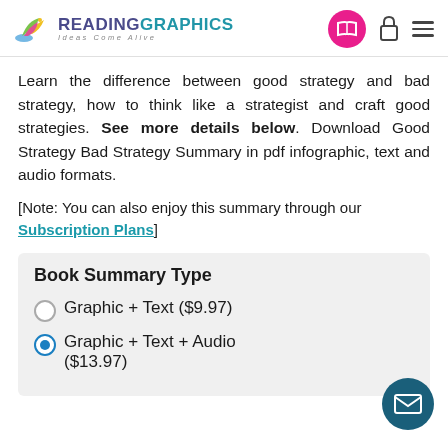[Figure (logo): ReadingGraphics logo with bird/plant icon and tagline 'Ideas Come Alive', plus navigation icons (book, lock, menu)]
Learn the difference between good strategy and bad strategy, how to think like a strategist and craft good strategies. See more details below. Download Good Strategy Bad Strategy Summary in pdf infographic, text and audio formats.
[Note: You can also enjoy this summary through our Subscription Plans]
| Book Summary Type |
| --- |
| Graphic + Text ($9.97) |
| Graphic + Text + Audio ($13.97) |